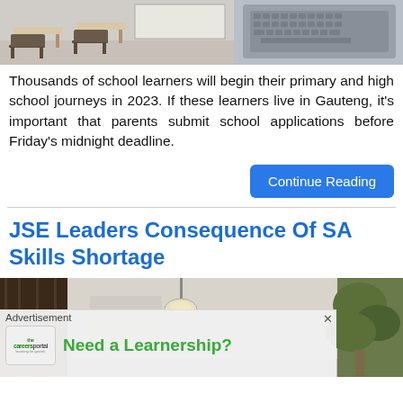[Figure (photo): Classroom with desks and chairs, laptop keyboard visible at top]
Thousands of school learners will begin their primary and high school journeys in 2023. If these learners live in Gauteng, it's important that parents submit school applications before Friday's midnight deadline.
Continue Reading
JSE Leaders Consequence Of SA Skills Shortage
[Figure (photo): Interior room with dark wood panels and hanging light fixture, green plants visible on right]
Advertisement
[Figure (screenshot): Advertisement banner: careersportal logo with text 'Need a Learnership?']